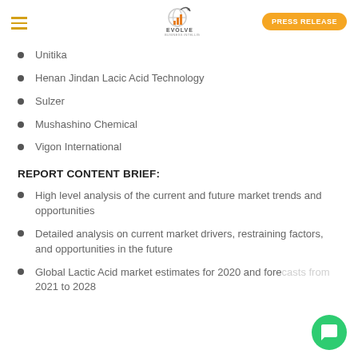EVOLVE | PRESS RELEASE
Unitika
Henan Jindan Lacic Acid Technology
Sulzer
Mushashino Chemical
Vigon International
REPORT CONTENT BRIEF:
High level analysis of the current and future market trends and opportunities
Detailed analysis on current market drivers, restraining factors, and opportunities in the future
Global Lactic Acid market estimates for 2020 and forecasts from 2021 to 2028